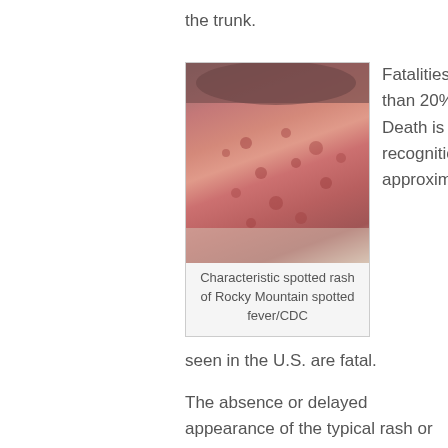the trunk.
[Figure (photo): Photograph showing characteristic spotted rash of Rocky Mountain spotted fever, published by CDC]
Characteristic spotted rash of Rocky Mountain spotted fever/CDC
Fatalities can be seen in greater than 20% of untreated cases. Death is uncommon with prompt recognition and treatment. Still approximately 3-5% of cases seen in the U.S. are fatal.
The absence or delayed appearance of the typical rash or the failure to recognize it, especially in dark-skinned people cause a delay in diagnosis and increased fatalities.